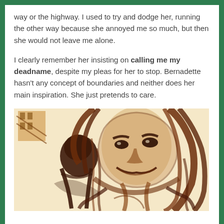way or the highway. I used to try and dodge her, running the other way because she annoyed me so much, but then she would not leave me alone.
I clearly remember her insisting on calling me my deadname, despite my pleas for her to stop. Bernadette hasn't any concept of boundaries and neither does her main inspiration. She just pretends to care.
[Figure (illustration): A dark brown ink or pyrography-style illustration showing two figures — a smaller figure in the foreground and a larger, menacing female figure with long flowing hair looming behind, with a building visible in the upper left background.]